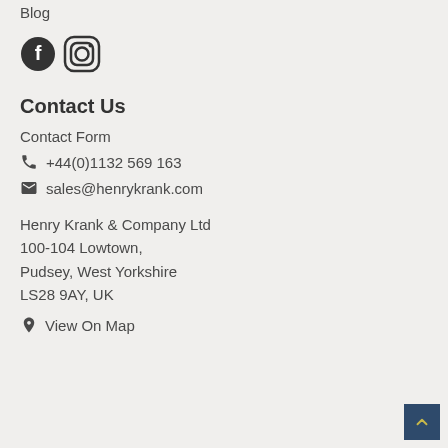Blog
[Figure (other): Social media icons: Facebook and Instagram]
Contact Us
Contact Form
+44(0)1132 569 163
sales@henrykrank.com
Henry Krank & Company Ltd
100-104 Lowtown,
Pudsey, West Yorkshire
LS28 9AY, UK
View On Map